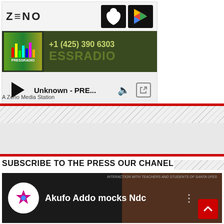[Figure (screenshot): Zeno Media radio station widget showing logo, Apple App Store and Google Play buttons, radio station banner with PRESSRADIO and phone number +1 (425) 390 6303, audio player with play button and track 'Unknown - PRE...']
A Zeno Media Station
SUBSCRIBE TO THE PRESS OUR CHANEL
[Figure (screenshot): YouTube video thumbnail showing 'Akufo Addo mocks Ndc' with channel logo and scroll-to-top button]